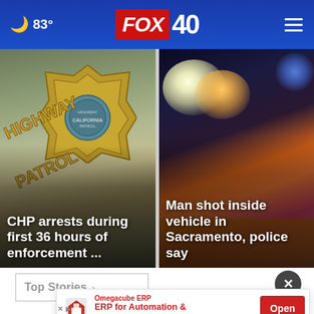83° FOX 40
[Figure (photo): California Highway Patrol badge close-up with 'Highway Patrol' text]
CHP arrests during first 36 hours of enforcement ...
[Figure (photo): Police vehicle emergency lights at night with orange and pink glow]
Man shot inside vehicle in Sacramento, police say
Top Stories >
Omegacube ERP - ERP for Automation & Growth - Open